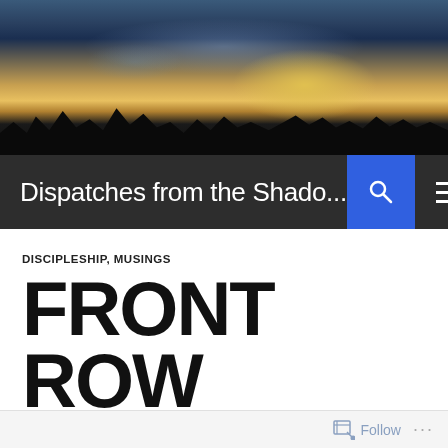[Figure (photo): Landscape photo of a dramatic sky with clouds at sunset/sunrise over silhouetted mountain and tree ridgeline]
Dispatches from the Shado...
DISCIPLESHIP, MUSINGS
FRONT ROW SEATS, BUT MISSED THE SHOW